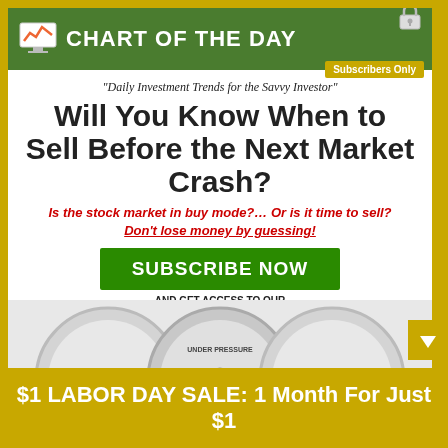CHART OF THE DAY — Subscribers Only
"Daily Investment Trends for the Savvy Investor"
Will You Know When to Sell Before the Next Market Crash?
Is the stock market in buy mode?… Or is it time to sell? Don't lose money by guessing!
SUBSCRIBE NOW
AND GET ACCESS TO OUR POWERFUL MARKET BAROMETER
[Figure (infographic): Gauge/barometer instruments showing 'UNDER PRESSURE' label, partially visible at bottom]
$1 LABOR DAY SALE: 1 Month For Just $1